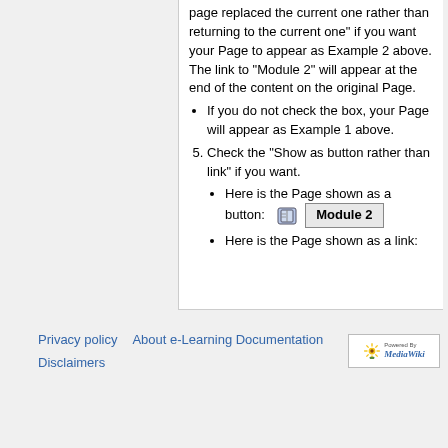page replaced the current one rather than returning to the current one" if you want your Page to appear as Example 2 above. The link to "Module 2" will appear at the end of the content on the original Page.
If you do not check the box, your Page will appear as Example 1 above.
Check the "Show as button rather than link" if you want.
Here is the Page shown as a button: [book icon] Module 2
Here is the Page shown as a link:
Privacy policy   About e-Learning Documentation   Disclaimers
[Figure (logo): Powered by MediaWiki badge with sunflower logo]